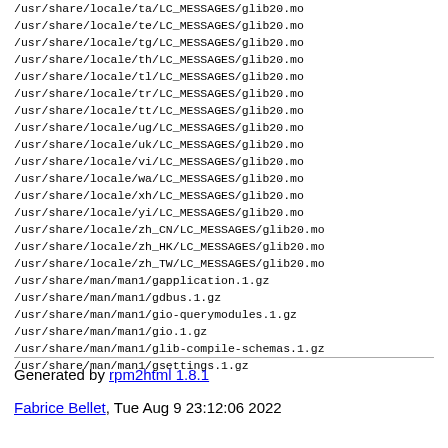/usr/share/locale/ta/LC_MESSAGES/glib20.mo
/usr/share/locale/te/LC_MESSAGES/glib20.mo
/usr/share/locale/tg/LC_MESSAGES/glib20.mo
/usr/share/locale/th/LC_MESSAGES/glib20.mo
/usr/share/locale/tl/LC_MESSAGES/glib20.mo
/usr/share/locale/tr/LC_MESSAGES/glib20.mo
/usr/share/locale/tt/LC_MESSAGES/glib20.mo
/usr/share/locale/ug/LC_MESSAGES/glib20.mo
/usr/share/locale/uk/LC_MESSAGES/glib20.mo
/usr/share/locale/vi/LC_MESSAGES/glib20.mo
/usr/share/locale/wa/LC_MESSAGES/glib20.mo
/usr/share/locale/xh/LC_MESSAGES/glib20.mo
/usr/share/locale/yi/LC_MESSAGES/glib20.mo
/usr/share/locale/zh_CN/LC_MESSAGES/glib20.mo
/usr/share/locale/zh_HK/LC_MESSAGES/glib20.mo
/usr/share/locale/zh_TW/LC_MESSAGES/glib20.mo
/usr/share/man/man1/gapplication.1.gz
/usr/share/man/man1/gdbus.1.gz
/usr/share/man/man1/gio-querymodules.1.gz
/usr/share/man/man1/gio.1.gz
/usr/share/man/man1/glib-compile-schemas.1.gz
/usr/share/man/man1/gsettings.1.gz
Generated by rpm2html 1.8.1
Fabrice Bellet, Tue Aug 9 23:12:06 2022